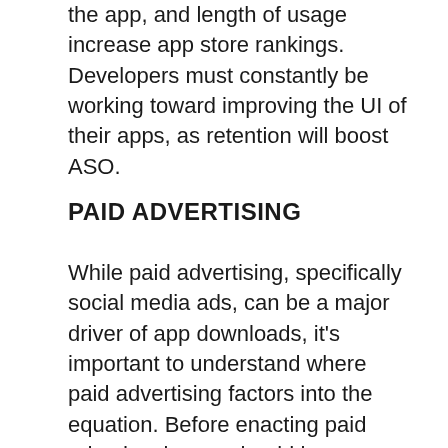the app, and length of usage increase app store rankings. Developers must constantly be working toward improving the UI of their apps, as retention will boost ASO.
PAID ADVERTISING
While paid advertising, specifically social media ads, can be a major driver of app downloads, it's important to understand where paid advertising factors into the equation. Before enacting paid ads, developers should have established a proven revenue model and overall business model. How much revenue an app generates per download will dictate the paid advertising budget. Without a model for revenue per download, app promotion can quickly become too expensive to maintain and